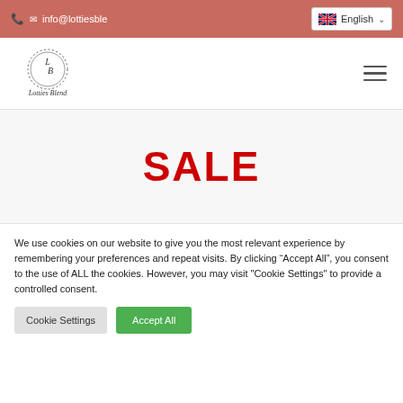📞 ✉ info@lottiesble  🇬🇧 English ∨
[Figure (logo): Lotties Blend circular logo with decorative border and cursive text]
SALE
We use cookies on our website to give you the most relevant experience by remembering your preferences and repeat visits. By clicking "Accept All", you consent to the use of ALL the cookies. However, you may visit "Cookie Settings" to provide a controlled consent.
Cookie Settings  Accept All